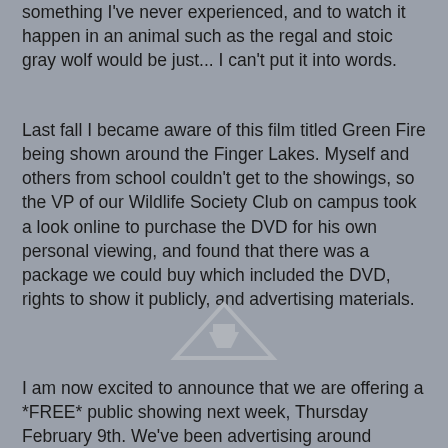something I've never experienced, and to watch it happen in an animal such as the regal and stoic gray wolf would be just... I can't put it into words.
Last fall I became aware of this film titled Green Fire being shown around the Finger Lakes. Myself and others from school couldn't get to the showings, so the VP of our Wildlife Society Club on campus took a look online to purchase the DVD for his own personal viewing, and found that there was a package we could buy which included the DVD, rights to show it publicly, and advertising materials.
[Figure (illustration): A triangular play/eject button icon outline with a small trapezoid shape inside, resembling a DVD or media logo, rendered in gray tones on a gray background.]
I am now excited to announce that we are offering a *FREE* public showing next week, Thursday February 9th. We've been advertising around school, around town, and we just